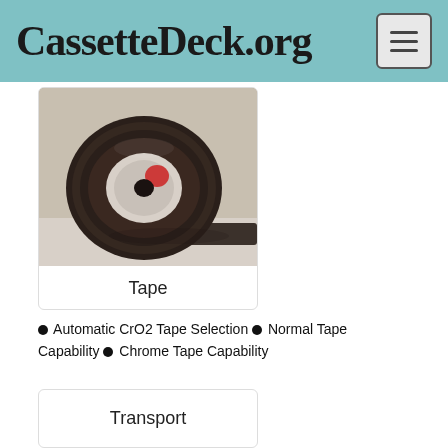CassetteDeck.org
[Figure (photo): A reel of magnetic cassette tape, dark brown/black tape wound on a white plastic hub with a red sticker, lying on a light surface.]
Tape
Automatic CrO2 Tape Selection
Normal Tape Capability
Chrome Tape Capability
Transport
Mechanical Tape Loading
Auto Stop
Single Capstan